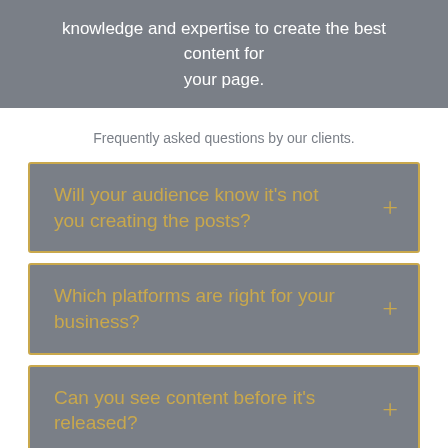knowledge and expertise to create the best content for your page.
Frequently asked questions by our clients.
Will your audience know it's not you creating the posts?
Which platforms are right for your business?
Can you see content before it's released?